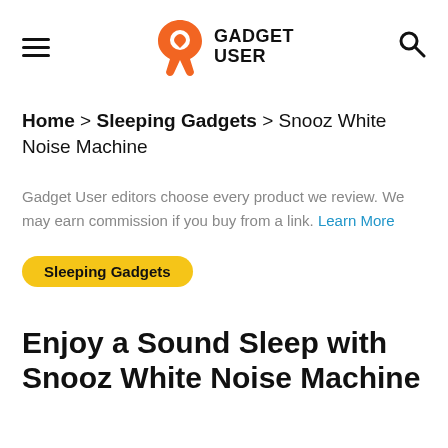GADGET USER
Home > Sleeping Gadgets > Snooz White Noise Machine
Gadget User editors choose every product we review. We may earn commission if you buy from a link. Learn More
Sleeping Gadgets
Enjoy a Sound Sleep with Snooz White Noise Machine